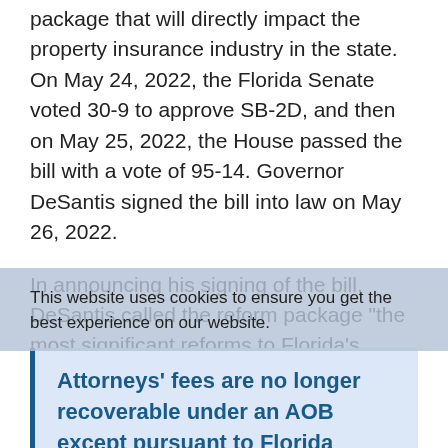package that will directly impact the property insurance industry in the state. On May 24, 2022, the Florida Senate voted 30-9 to approve SB-2D, and then on May 25, 2022, the House passed the bill with a vote of 95-14. Governor DeSantis signed the bill into law on May 26, 2022.
In announcing his signing of the bill, DeSantis called the reform package “the most significant reforms to Florida’s homeowners insurance market in a generation.” Below we provide a quick outline of some of the important components of this new legislation:
This website uses cookies to ensure you get the best experience on our website.
Attorneys’ fees are no longer recoverable under an AOB except pursuant to Florida Statute Section